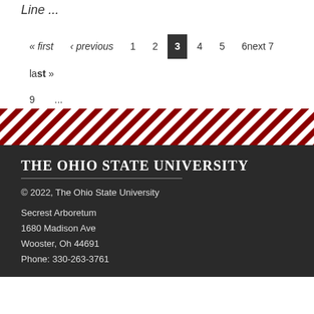Line ...
« first ‹ previous 1 2 3 4 5 6next 7 last» 9 ...
[Figure (other): Diagonal red and white striped decorative band]
The Ohio State University
© 2022, The Ohio State University
Secrest Arboretum
1680 Madison Ave
Wooster, Oh 44691
Phone: 330-263-3761